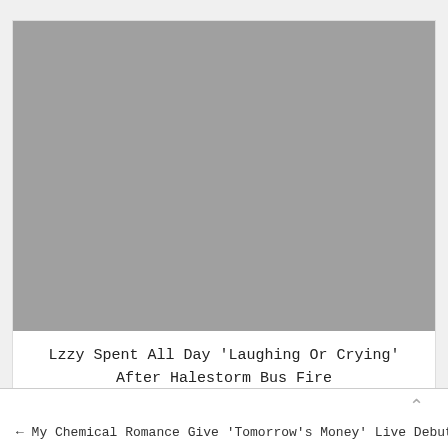[Figure (photo): Large gray placeholder image for a photo related to Halestorm bus fire article]
Lzzy Spent All Day 'Laughing Or Crying' After Halestorm Bus Fire
← My Chemical Romance Give 'Tomorrow's Money' Live Debut in